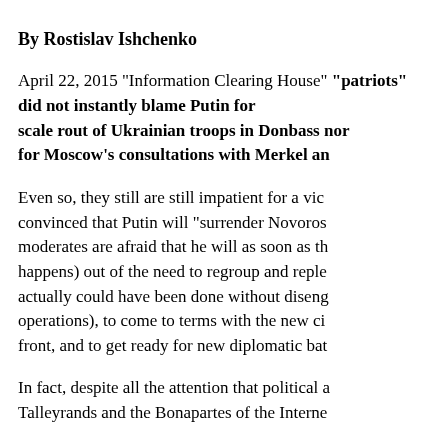By Rostislav Ishchenko
April 22, 2015 "Information Clearing House" “patriots” did not instantly blame Putin for the scale rout of Ukrainian troops in Donbass nor for Moscow’s consultations with Merkel an…
Even so, they still are still impatient for a victory, convinced that Putin will “surrender Novoros… moderates are afraid that he will as soon as th… happens) out of the need to regroup and reple… actually could have been done without diseng… operations), to come to terms with the new ci… front, and to get ready for new diplomatic bat…
In fact, despite all the attention that political a… Talleyrands and the Bonapartes of the Interne…